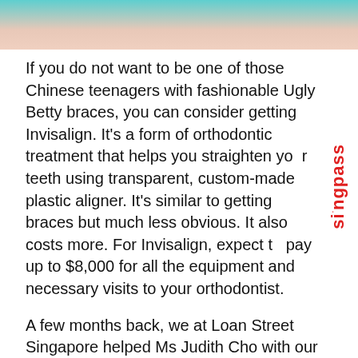[Figure (photo): Top portion of a photo showing a person with teal/turquoise background, cropped at bottom of image area]
If you do not want to be one of those Chinese teenagers with fashionable Ugly Betty braces, you can consider getting Invisalign. It's a form of orthodontic treatment that helps you straighten your teeth using transparent, custom-made plastic aligner. It's similar to getting braces but much less obvious. It also costs more. For Invisalign, expect to pay up to $8,000 for all the equipment and necessary visits to your orthodontist.
A few months back, we at Loan Street Singapore helped Ms Judith Cho with our Braces / Invisalign Personal Loan. Judith is a primary school math teacher and she has to deal with a lot of children and parents on a daily basis. Due to her crooked teeth, she often got unwanted attention and it made her